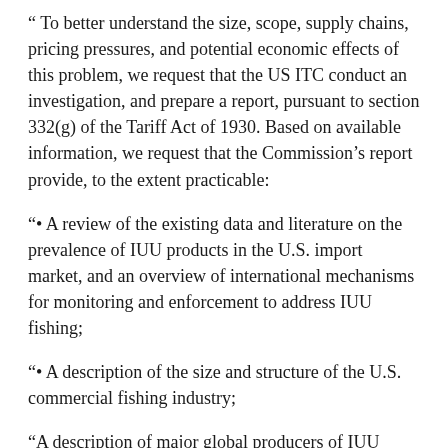“ To better understand the size, scope, supply chains, pricing pressures, and potential economic effects of this problem, we request that the US ITC conduct an investigation, and prepare a report, pursuant to section 332(g) of the Tariff Act of 1930. Based on available information, we request that the Commission’s report provide, to the extent practicable:
“• A review of the existing data and literature on the prevalence of IUU products in the U.S. import market, and an overview of international mechanisms for monitoring and enforcement to address IUU fishing;
“• A description of the size and structure of the U.S. commercial fishing industry;
“A description of major global producers of IUU products, including but not limited to China, and country practices related to IUU production and